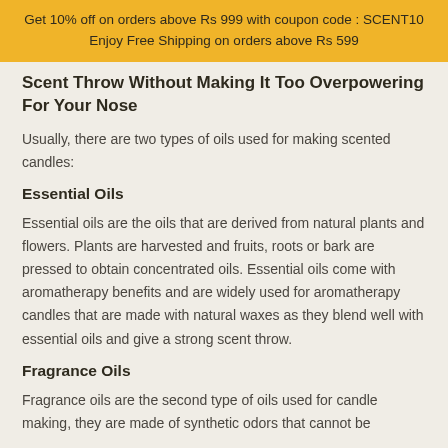Get 10% off on orders above Rs 999 with coupon code : SCENT10
Enjoy Free Shipping on orders above Rs 599
Scent Throw Without Making It Too Overpowering For Your Nose
Usually, there are two types of oils used for making scented candles:
Essential Oils
Essential oils are the oils that are derived from natural plants and flowers. Plants are harvested and fruits, roots or bark are pressed to obtain concentrated oils. Essential oils come with aromatherapy benefits and are widely used for aromatherapy candles that are made with natural waxes as they blend well with essential oils and give a strong scent throw.
Fragrance Oils
Fragrance oils are the second type of oils used for candle making, they are made of synthetic odors that cannot be